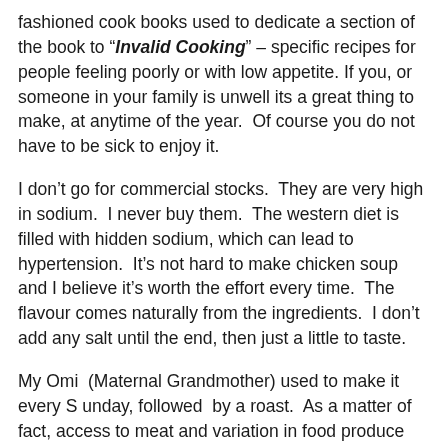fashioned cook books used to dedicate a section of the book to “Invalid Cooking” – specific recipes for people feeling poorly or with low appetite. If you, or someone in your family is unwell its a great thing to make, at anytime of the year.  Of course you do not have to be sick to enjoy it.
I don’t go for commercial stocks.  They are very high in sodium.  I never buy them.  The western diet is filled with hidden sodium, which can lead to hypertension.  It’s not hard to make chicken soup and I believe it’s worth the effort every time.  The flavour comes naturally from the ingredients.  I don’t add any salt until the end, then just a little to taste.
My Omi  (Maternal Grandmother) used to make it every S unday, followed  by a roast.  As a matter of fact, access to meat and variation in food produce was more limited.  The chickens the were often older (they probably really were free range) so the meat was tougher and leaner.  They used to call those chickens  “Boilers”, so she would make the soup from this kind